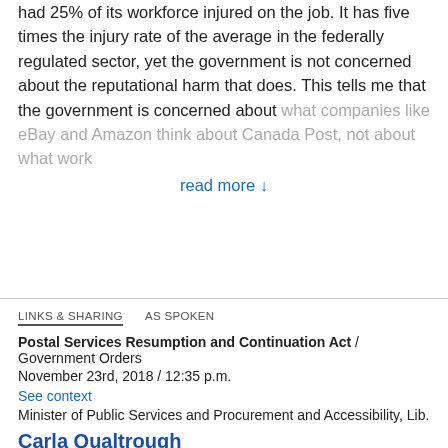had 25% of its workforce injured on the job. It has five times the injury rate of the average in the federally regulated sector, yet the government is not concerned about the reputational harm that does. This tells me that the government is concerned about what companies like eBay and Amazon think about Canada Post, not about what workers think when they look at an
read more ↓
LINKS & SHARING    AS SPOKEN
Postal Services Resumption and Continuation Act / Government Orders
November 23rd, 2018 / 12:35 p.m.
See context
Minister of Public Services and Procurement and Accessibility, Lib.
Carla Qualtrough
Mr. Speaker, I can assure you that I understand and respect the hard work of our postal workers. That is not at all what we are talking about today.
I can also assure you that we are concerned about the occupational health and safety of postal workers and that Canada Post is absolutely committed to addressing the reality of workplace injuries. That is one of my top priorities with